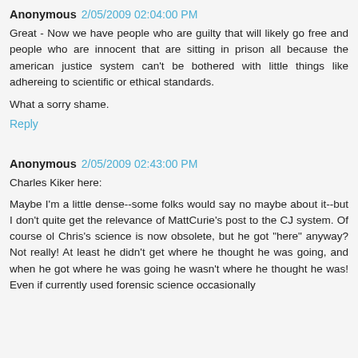Anonymous 2/05/2009 02:04:00 PM
Great - Now we have people who are guilty that will likely go free and people who are innocent that are sitting in prison all because the american justice system can't be bothered with little things like adhereing to scientific or ethical standards.
What a sorry shame.
Reply
Anonymous 2/05/2009 02:43:00 PM
Charles Kiker here:
Maybe I'm a little dense--some folks would say no maybe about it--but I don't quite get the relevance of MattCurie's post to the CJ system. Of course ol Chris's science is now obsolete, but he got "here" anyway? Not really! At least he didn't get where he thought he was going, and when he got where he was going he wasn't where he thought he was! Even if currently used forensic science occasionally